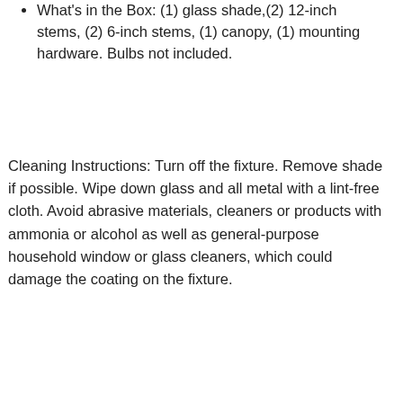What's in the Box: (1) glass shade,(2) 12-inch stems, (2) 6-inch stems, (1) canopy, (1) mounting hardware. Bulbs not included.
Cleaning Instructions: Turn off the fixture. Remove shade if possible. Wipe down glass and all metal with a lint-free cloth. Avoid abrasive materials, cleaners or products with ammonia or alcohol as well as general-purpose household window or glass cleaners, which could damage the coating on the fixture.
We use cookies on this site to enhance your user experience
By continuing to browse this site, you agree to this use. Learn More
GOT IT